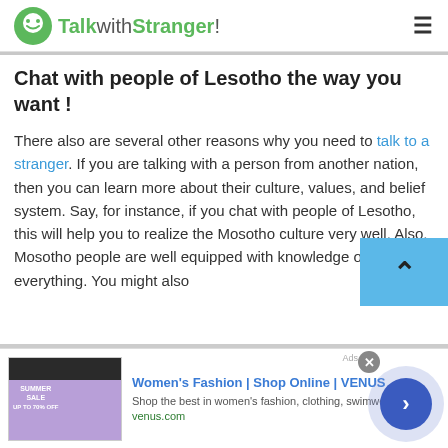TalkwithStranger!
Chat with people of Lesotho the way you want !
There also are several other reasons why you need to talk to a stranger. If you are talking with a person from another nation, then you can learn more about their culture, values, and belief system. Say, for instance, if you chat with people of Lesotho, this will help you to realize the Mosotho culture very well. Also, Mosotho people are well equipped with knowledge of almost everything. You might also
[Figure (screenshot): Advertisement banner for Women's Fashion Shop Online VENUS with product image and navigation arrow button]